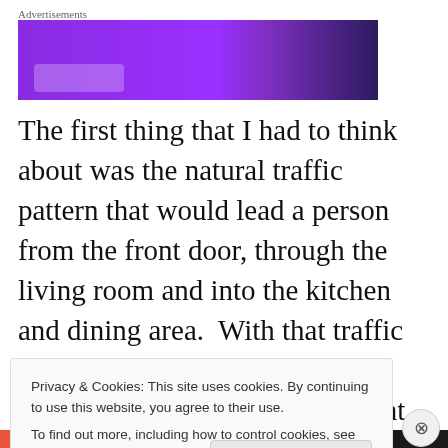[Figure (other): Purple/dark purple advertisement banner with 'Advertisements' label above it and a partial white button element at the bottom left]
The first thing that I had to think about was the natural traffic pattern that would lead a person from the front door, through the living room and into the kitchen and dining area.  With that traffic pattern in mind, and how much space it took up, the final amount of space for arranging
Privacy & Cookies: This site uses cookies. By continuing to use this website, you agree to their use.
To find out more, including how to control cookies, see here: Cookie Policy
Close and accept